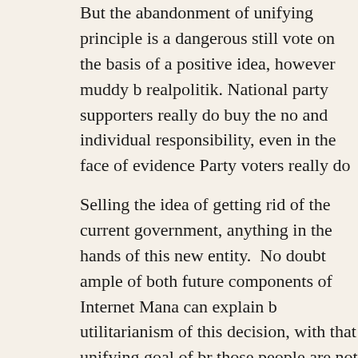But the abandonment of unifying principle is a dangerous still vote on the basis of a positive idea, however muddy b realpolitik. National party supporters really do buy the no and individual responsibility, even in the face of evidence Party voters really do buy the idea of social and collective face of all political history that suggests such pure ideals n Māori Party knows better than anyone how difficult it is t on a pragmatic idea, in this case that Māori can benefit fro making table. That too is a pragmatic stance, but at least i and closely married to the idea of achieving a level of rang might be yet seen that the Māori Party has ended up losin pragmatism.
Selling the idea of getting rid of the current government, anything in the hands of this new entity. No doubt ample of both future components of Internet Mana can explain b utilitarianism of this decision, with that unifying goal of br those people are not where the tyre hits the tarmac. How now articulate for themselves and others what this entity freedom (except in the case of Māori cultural knowledge) poor and dispossessed (except when that voice has to an